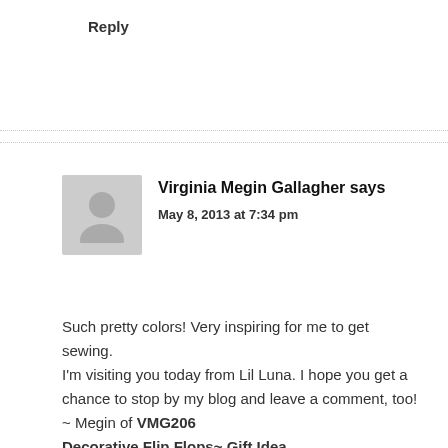Reply
Virginia Megin Gallagher says
May 8, 2013 at 7:34 pm
Such pretty colors! Very inspiring for me to get sewing.
I'm visiting you today from Lil Luna. I hope you get a chance to stop by my blog and leave a comment, too!
~ Megin of VMG206
Decorative Flip Flops~ Gift Idea